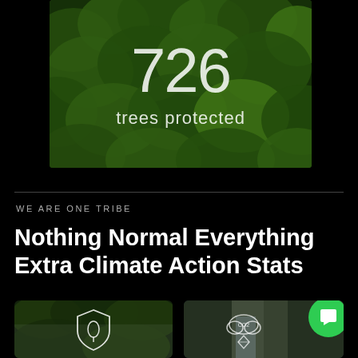[Figure (photo): Aerial view of dense green forest canopy with large number '726' and text 'trees protected' overlaid in white]
WE ARE ONE TRIBE
Nothing Normal Everything Extra Climate Action Stats
[Figure (photo): Misty forest/jungle scene with white shield leaf icon overlay]
[Figure (photo): Rocky cliff with waterfall and CO2 cloud icon overlay, green chat button in corner]